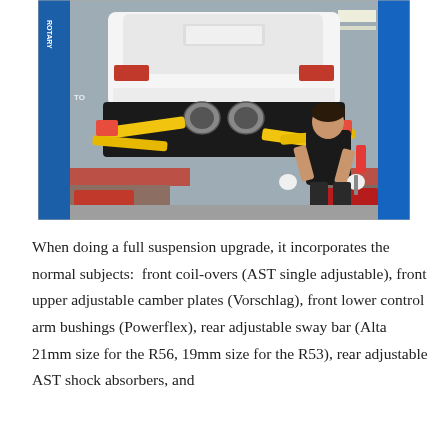[Figure (photo): A white car lifted on a blue hydraulic lift in an auto shop. A mechanic in a black t-shirt stands beneath the raised car working on the undercarriage/exhaust system. Yellow suspension components and red brake calipers are visible. The exhaust tips are exposed at the rear. Shop equipment and tool chests are visible in the background.]
When doing a full suspension upgrade, it incorporates the normal subjects:  front coil-overs (AST single adjustable), front upper adjustable camber plates (Vorschlag), front lower control arm bushings (Powerflex), rear adjustable sway bar (Alta 21mm size for the R56, 19mm size for the R53), rear adjustable AST shock absorbers, and